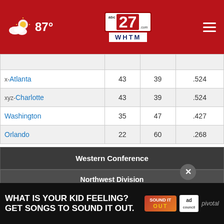87° | abc27 WHTM
|  | W | L | Pct |
| --- | --- | --- | --- |
| x-Atlanta | 43 | 39 | .524 |
| xyz-Charlotte | 43 | 39 | .524 |
| Washington | 35 | 47 | .427 |
| Orlando | 22 | 60 | .268 |
Western Conference
Northwest Division
|  | W | L | Pct |
| --- | --- | --- | --- |
| xy-Utah |  |  |  |
| x-Denver | 48 | 34 | .1585 |
[Figure (other): Advertisement banner: WHAT IS YOUR KID FEELING? GET SONGS TO SOUND IT OUT. Sound It Out logo, ad council, pivotal]